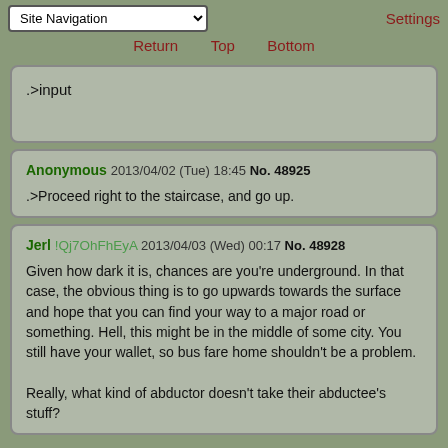Site Navigation | Settings | Return | Top | Bottom
.>input
Anonymous 2013/04/02 (Tue) 18:45 No. 48925
.>Proceed right to the staircase, and go up.
Jerl !Qj7OhFhEyA 2013/04/03 (Wed) 00:17 No. 48928
Given how dark it is, chances are you're underground. In that case, the obvious thing is to go upwards towards the surface and hope that you can find your way to a major road or something. Hell, this might be in the middle of some city. You still have your wallet, so bus fare home shouldn't be a problem.

Really, what kind of abductor doesn't take their abductee's stuff?